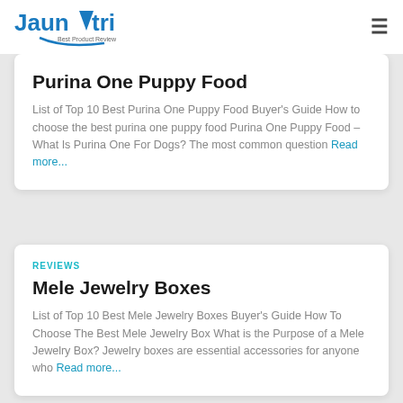Jaunatri — Best Product Review
Purina One Puppy Food
List of Top 10 Best Purina One Puppy Food Buyer's Guide How to choose the best purina one puppy food Purina One Puppy Food – What Is Purina One For Dogs? The most common question Read more...
REVIEWS
Mele Jewelry Boxes
List of Top 10 Best Mele Jewelry Boxes Buyer's Guide How To Choose The Best Mele Jewelry Box What is the Purpose of a Mele Jewelry Box? Jewelry boxes are essential accessories for anyone who Read more...